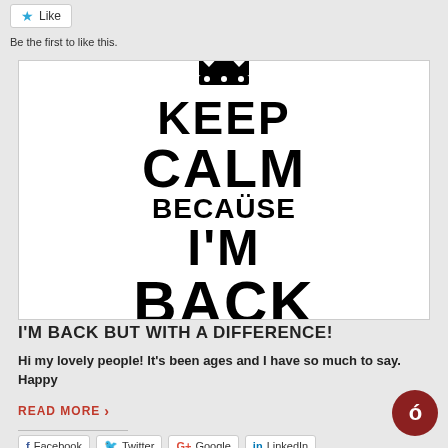Like
Be the first to like this.
[Figure (illustration): Keep Calm Because I'M BACK motivational poster with crown graphic in black text on white background]
I'M BACK BUT WITH A DIFFERENCE!
Hi my lovely people! It's been ages and I have so much to say. Happy
READ MORE >
Share this:
Facebook  Twitter  Google+  LinkedIn